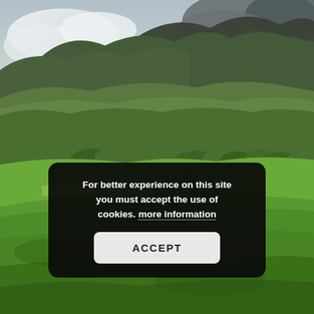[Figure (photo): Aerial/ground-level landscape photograph showing rolling green hills and meadows with forested areas and mountains in the background under a partly cloudy sky.]
For better experience on this site you must accept the use of cookies. more information
ACCEPT